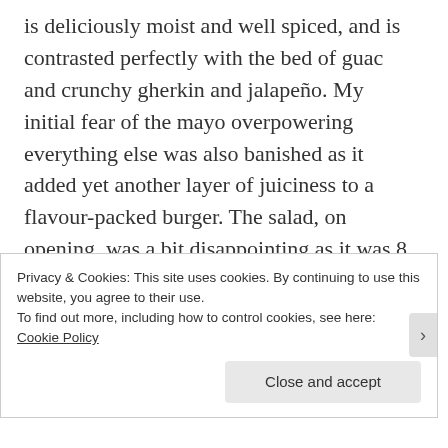is deliciously moist and well spiced, and is contrasted perfectly with the bed of guac and crunchy gherkin and jalapeño. My initial fear of the mayo overpowering everything else was also banished as it added yet another layer of juiciness to a flavour-packed burger. The salad, on opening, was a bit disappointing as it was 8 quarter chunks of baby-gem lettuce with a little pot of the blue cheese dressing. I wasn't complaining though as I munched through the crunchy wedges once they had been dressed –
Privacy & Cookies: This site uses cookies. By continuing to use this website, you agree to their use.
To find out more, including how to control cookies, see here: Cookie Policy
Close and accept